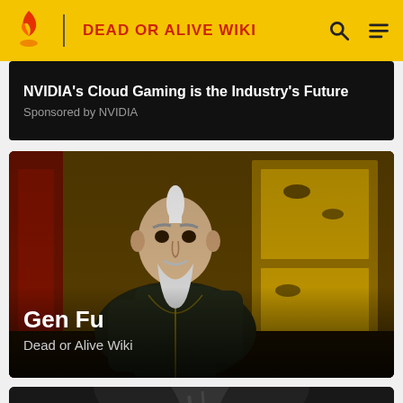DEAD OR ALIVE WIKI
NVIDIA's Cloud Gaming is the Industry's Future
Sponsored by NVIDIA
[Figure (photo): Character card for Gen Fu from Dead or Alive Wiki — elderly martial artist with white beard and dark embroidered robe, standing in a Japanese-style room with golden painted panels]
Gen Fu
Dead or Alive Wiki
[Figure (photo): Partially visible character card at bottom of page, showing back of a character's head]